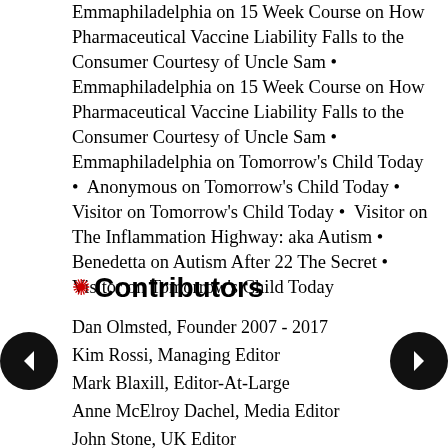Emmaphiladelphia on 15 Week Course on How Pharmaceutical Vaccine Liability Falls to the Consumer Courtesy of Uncle Sam • Emmaphiladelphia on 15 Week Course on How Pharmaceutical Vaccine Liability Falls to the Consumer Courtesy of Uncle Sam • Emmaphiladelphia on Tomorrow's Child Today • Anonymous on Tomorrow's Child Today • Visitor on Tomorrow's Child Today • Visitor on The Inflammation Highway: aka Autism • Benedetta on Autism After 22 The Secret • Visitor on Tomorrow's Child Today
Contributors
Dan Olmsted, Founder 2007 - 2017
Kim Rossi, Managing Editor
Mark Blaxill, Editor-At-Large
Anne McElroy Dachel, Media Editor
John Stone, UK Editor
Nancy Hokkanen, Contributing Editor